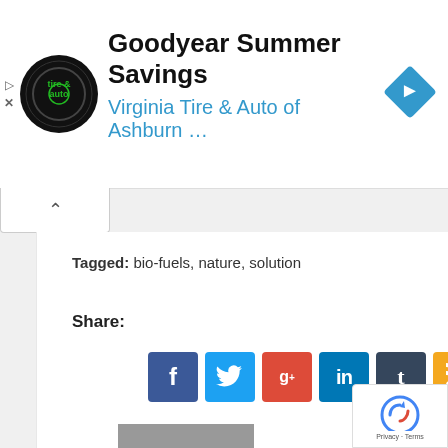[Figure (other): Advertisement banner for Goodyear Summer Savings by Virginia Tire & Auto of Ashburn with logo and navigation arrow icon]
Tagged: bio-fuels, nature, solution
Share:
[Figure (other): Social media sharing icons: Facebook, Twitter, Google+, LinkedIn, Tumblr, RSS, Pinterest, Email]
WRITTEN BY GREEN BLOGGER
[Figure (other): Author avatar placeholder - grey silhouette image]